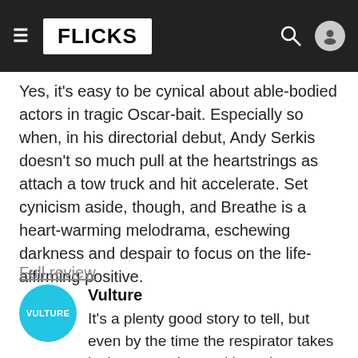FLICKS
Yes, it's easy to be cynical about able-bodied actors in tragic Oscar-bait. Especially so when, in his directorial debut, Andy Serkis doesn't so much pull at the heartstrings as attach a tow truck and hit accelerate. Set cynicism aside, though, and Breathe is a heart-warming melodrama, eschewing darkness and despair to focus on the life-affirming positive.
Full review
Vulture
It's a plenty good story to tell, but even by the time the respirator takes its last gasp, I was ultimately unmoved.